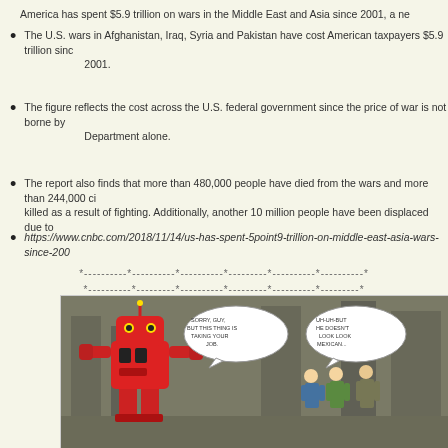America has spent $5.9 trillion on wars in the Middle East and Asia since 2001, a ne
The U.S. wars in Afghanistan, Iraq, Syria and Pakistan have cost American taxpayers $5.9 trillion since 2001.
The figure reflects the cost across the U.S. federal government since the price of war is not borne by the Department alone.
The report also finds that more than 480,000 people have died from the wars and more than 244,000 ci killed as a result of fighting. Additionally, another 10 million people have been displaced due to
https://www.cnbc.com/2018/11/14/us-has-spent-5point9-trillion-on-middle-east-asia-wars-since-200
*----------*----------*----------*---------*----------*----------*
*----------*---------*----------*---------*----------*---------*
[Figure (illustration): Political cartoon showing a large red robot in a factory setting with speech bubbles. Workers stand nearby. One speech bubble reads 'SORRY, GUY, BUT THIS THING IS TAKING YOUR JOB.' Another reads 'UH-UH-BUT HE DOESN'T LOOK MEXICAN...']